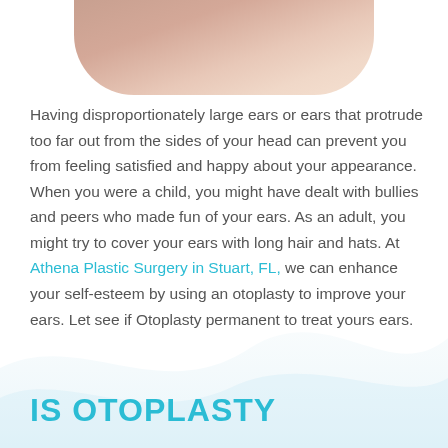[Figure (photo): Cropped top portion of a person's ear/head area showing skin tone, partial view from above]
Having disproportionately large ears or ears that protrude too far out from the sides of your head can prevent you from feeling satisfied and happy about your appearance. When you were a child, you might have dealt with bullies and peers who made fun of your ears. As an adult, you might try to cover your ears with long hair and hats. At Athena Plastic Surgery in Stuart, FL, we can enhance your self-esteem by using an otoplasty to improve your ears. Let see if Otoplasty permanent to treat yours ears.
IS OTOPLASTY